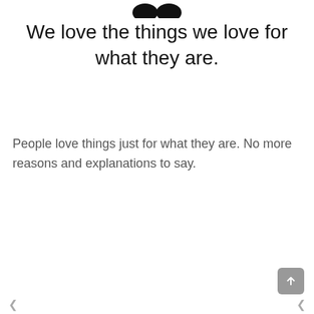[Figure (illustration): Two dark oval/semicircle shapes resembling eyes or dots at the top of the page]
We love the things we love for what they are.
People love things just for what they are. No more reasons and explanations to say.